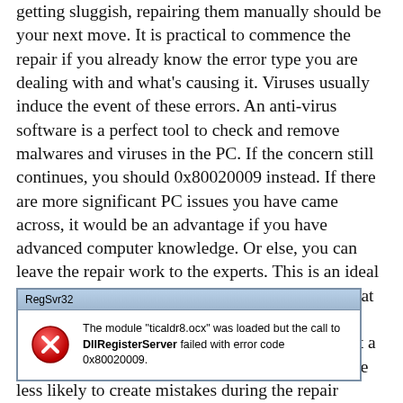getting sluggish, repairing them manually should be your next move. It is practical to commence the repair if you already know the error type you are dealing with and what's causing it. Viruses usually induce the event of these errors. An anti-virus software is a perfect tool to check and remove malwares and viruses in the PC. If the concern still continues, you should 0x80020009 instead. If there are more significant PC issues you have came across, it would be an advantage if you have advanced computer knowledge. Or else, you can leave the repair work to the experts. This is an ideal suggestion especially if you wish to make sure that the problem will be fixed permanently and in a quicker method. Furthermore, it is better to select a professional to perform the job for you as they are less likely to create mistakes during the repair process.
[Figure (screenshot): Windows error dialog box titled 'RegSvr32' showing a red X error icon and the message: The module "ticaldr8.ocx" was loaded but the call to DllRegisterServer failed with error code 0x80020009.]